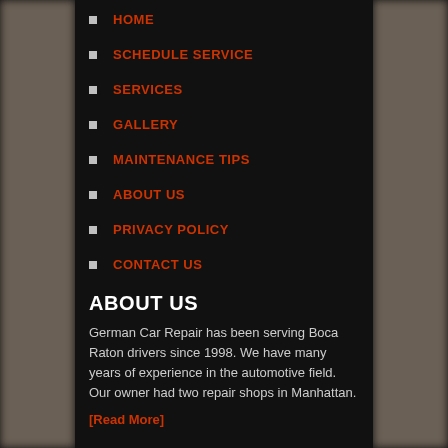HOME
SCHEDULE SERVICE
SERVICES
GALLERY
MAINTENANCE TIPS
ABOUT US
PRIVACY POLICY
CONTACT US
ABOUT US
German Car Repair has been serving Boca Raton drivers since 1998. We have many years of experience in the automotive field. Our owner had two repair shops in Manhattan.
[Read More]